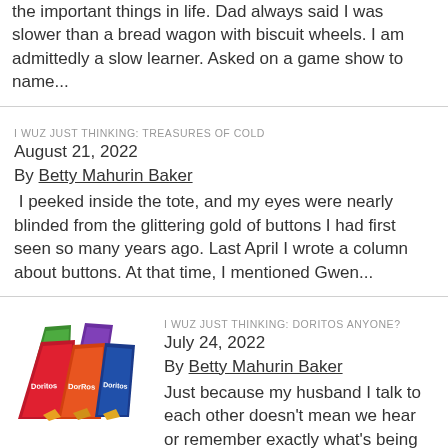the important things in life. Dad always said I was slower than a bread wagon with biscuit wheels. I am admittedly a slow learner. Asked on a game show to name...
I WUZ JUST THINKING: TREASURES OF COLD
August 21, 2022
By Betty Mahurin Baker
I peeked inside the tote, and my eyes were nearly blinded from the glittering gold of buttons I had first seen so many years ago. Last April I wrote a column about buttons. At that time, I mentioned Gwen...
I WUZ JUST THINKING: DORITOS ANYONE?
July 24, 2022
By Betty Mahurin Baker
[Figure (photo): Multiple bags of Doritos chips in various flavors and colors (green, purple, red, blue bags) arranged together]
Just because my husband I talk to each other doesn't mean we hear or remember exactly what's being said. Anyone like Doritos? I have a large...